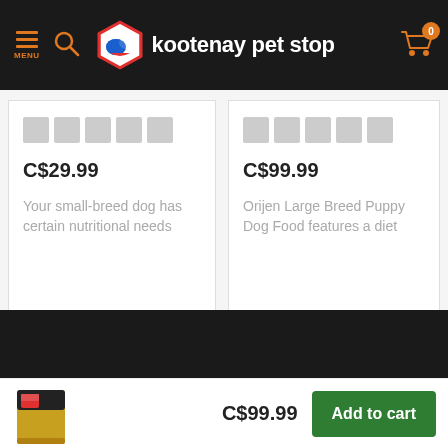MENU | [search icon] | kootenay pet stop | [cart: 0]
C$29.99
Your small-breed dog has certain nutritional needs
C$99.99
Orijen Large Breed Puppy Dog Food features a diet
[Figure (screenshot): Navigation arrows (left and right) for product carousel]
[Figure (photo): Small product thumbnail image of dog food bag]
C$99.99
Add to cart